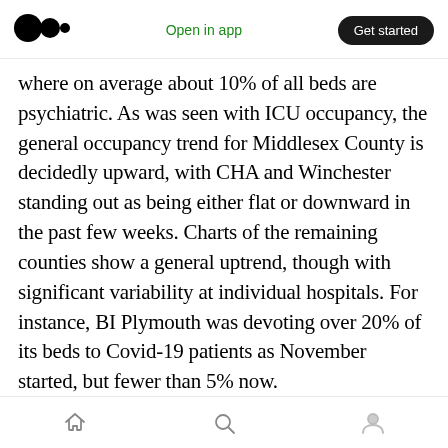Medium logo | Open in app | Get started
where on average about 10% of all beds are psychiatric. As was seen with ICU occupancy, the general occupancy trend for Middlesex County is decidedly upward, with CHA and Winchester standing out as being either flat or downward in the past few weeks. Charts of the remaining counties show a general uptrend, though with significant variability at individual hospitals. For instance, BI Plymouth was devoting over 20% of its beds to Covid-19 patients as November started, but fewer than 5% now.
Charts for and Massachus…
Home | Search | Profile